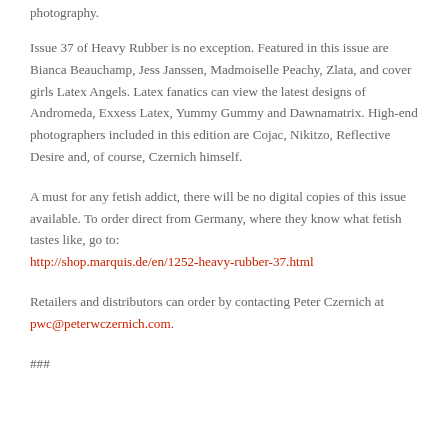photography.
Issue 37 of Heavy Rubber is no exception. Featured in this issue are Bianca Beauchamp, Jess Janssen, Madmoiselle Peachy, Zlata, and cover girls Latex Angels. Latex fanatics can view the latest designs of Andromeda, Exxess Latex, Yummy Gummy and Dawnamatrix. High-end photographers included in this edition are Cojac, Nikitzo, Reflective Desire and, of course, Czernich himself.
A must for any fetish addict, there will be no digital copies of this issue available. To order direct from Germany, where they know what fetish tastes like, go to: http://shop.marquis.de/en/1252-heavy-rubber-37.html
Retailers and distributors can order by contacting Peter Czernich at pwc@peterwczernich.com.
###